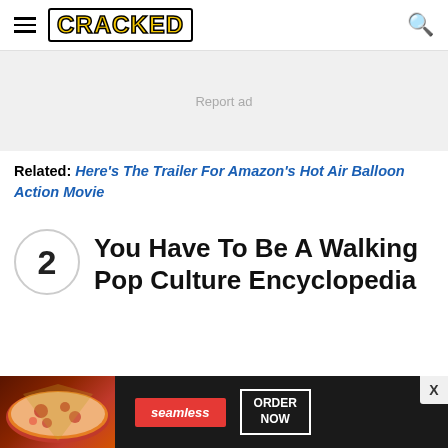CRACKED
[Figure (other): Advertisement placeholder with 'Report ad' text on light gray background]
Related: Here's The Trailer For Amazon's Hot Air Balloon Action Movie
2 You Have To Be A Walking Pop Culture Encyclopedia
[Figure (other): Seamless food delivery advertisement banner at bottom with pizza image, Seamless logo, and ORDER NOW button]